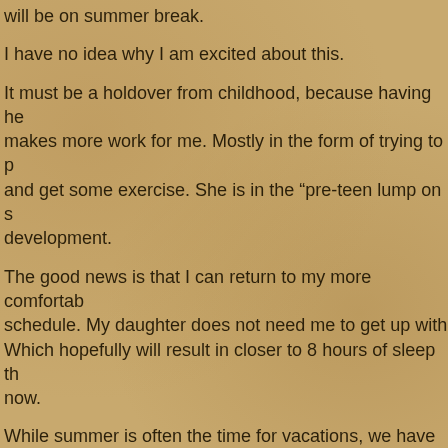will be on summer break.
I have no idea why I am excited about this.
It must be a holdover from childhood, because having he makes more work for me. Mostly in the form of trying to p and get some exercise. She is in the “pre-teen lump on s development.
The good news is that I can return to my more comfortab schedule. My daughter does not need me to get up with Which hopefully will result in closer to 8 hours of sleep th now.
While summer is often the time for vacations, we have n may take day trips from time to time. And my daughter ha in August, which will involve plenty of driving for me, as i away.
But overall, it should be a fairly relaxed summer.